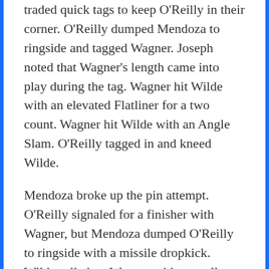traded quick tags to keep O'Reilly in their corner. O'Reilly dumped Mendoza to ringside and tagged Wagner. Joseph noted that Wagner's length came into play during the tag. Wagner hit Wilde with an elevated Flatliner for a two count. Wagner hit Wilde with an Angle Slam. O'Reilly tagged in and kneed Wilde.
Mendoza broke up the pin attempt. O'Reilly signaled for a finisher with Wagner, but Mendoza dumped O'Reilly to ringside with a missile dropkick. Wilde rolled up Wagner with a small package for the clean win.
Legado Del Fantasma defeated Wagner and O'Reilly via pinfall in 11:00.
McKenzie Mitchell interviewed Carmelo Hayes and Trick Williams. Hayes said they aren't here